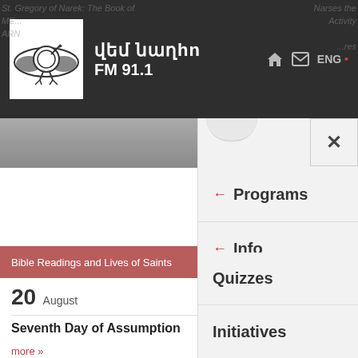վեմ նաղhn FM 91.1 — ENG
← Programs
← Info
Media
Products
Quizzes
Initiatives
Bible Readings and Lives of Saints
20 August
Seventh Day of Assumption
more »